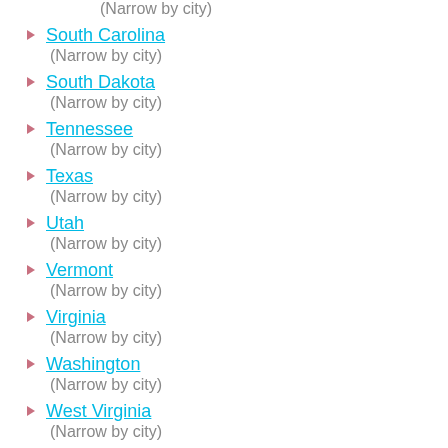(Narrow by city)
South Carolina
(Narrow by city)
South Dakota
(Narrow by city)
Tennessee
(Narrow by city)
Texas
(Narrow by city)
Utah
(Narrow by city)
Vermont
(Narrow by city)
Virginia
(Narrow by city)
Washington
(Narrow by city)
West Virginia
(Narrow by city)
Wisconsin
(Narrow by city)
Wyoming